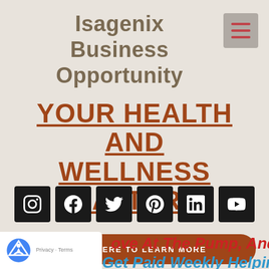Isagenix Business Opportunity
[Figure (other): Hamburger menu icon (three horizontal red lines on grey background)]
YOUR HEALTH AND WELLNESS MATTERS
[Figure (other): Social media icon buttons: Instagram, Facebook, Twitter, Pinterest, LinkedIn, YouTube]
CLICK HERE TO LEARN MORE
ove At The Pump, And...
Get Paid Weekly Helping
[Figure (other): Google reCAPTCHA badge with Privacy and Terms links]